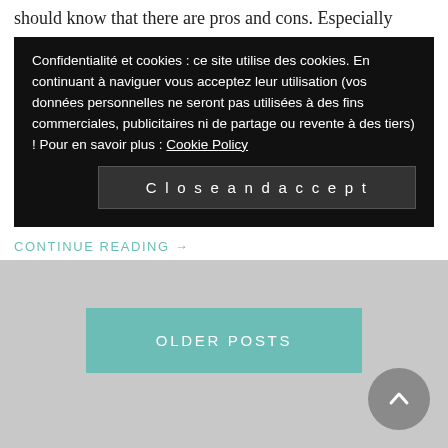should know that there are pros and cons. Especially
Confidentialité et cookies : ce site utilise des cookies. En continuant à naviguer vous acceptez leur utilisation (vos données personnelles ne seront pas utilisées à des fins commerciales, publicitaires ni de partage ou revente à des tiers) ! Pour en savoir plus : Cookie Policy

Close and accept
CONTINUE READING →
OLDER POSTS